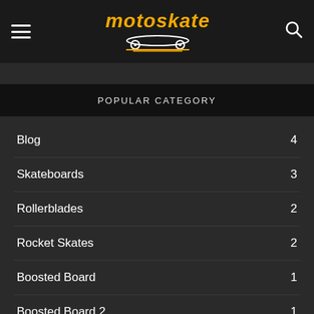motoskate
POPULAR CATEGORY
Blog 4
Skateboards 3
Rollerblades 2
Rocket Skates 2
Boosted Board 1
Boosted Board 2 1
electric skateboard buying 1
Safety Tips 1